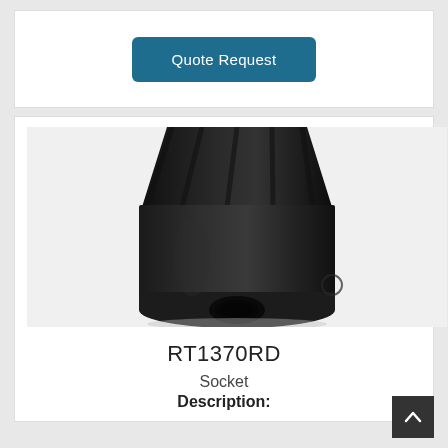Quote Request
[Figure (photo): Close-up photo of a black rubber/plastic socket component (RT1370RD) showing its cylindrical body with ridged top and a circular hole at the bottom end, photographed against a white background.]
RT1370RD
Socket
Description: